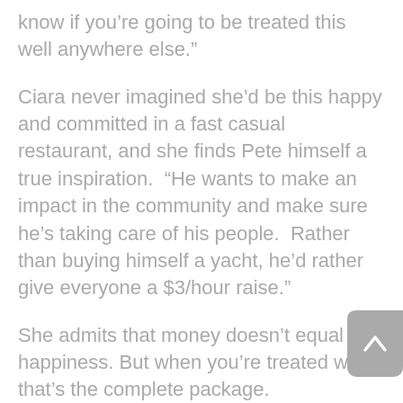know if you’re going to be treated this well anywhere else.”
Ciara never imagined she’d be this happy and committed in a fast casual restaurant, and she finds Pete himself a true inspiration.  “He wants to make an impact in the community and make sure he’s taking care of his people.  Rather than buying himself a yacht, he’d rather give everyone a $3/hour raise.”
She admits that money doesn’t equal happiness. But when you’re treated well that’s the complete package.